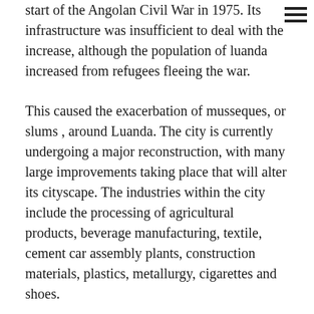start of the Angolan Civil War in 1975. Its infrastructure was insufficient to deal with the increase, although the population of luanda increased from refugees fleeing the war.
This caused the exacerbation of musseques, or slums , around Luanda. The city is currently undergoing a major reconstruction, with many large improvements taking place that will alter its cityscape. The industries within the city include the processing of agricultural products, beverage manufacturing, textile, cement car assembly plants, construction materials, plastics, metallurgy, cigarettes and shoes.
The city is also notable as an economic centre for petroleum, and there is a refinery located in the city. Luanda has been considered among the most